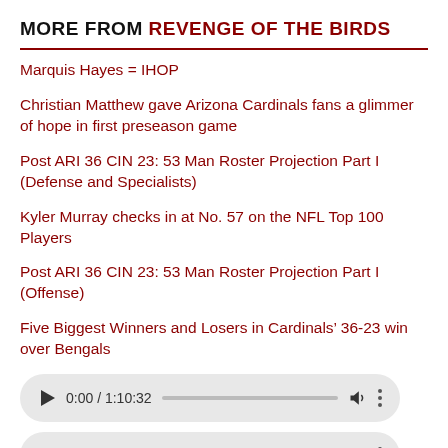MORE FROM REVENGE OF THE BIRDS
Marquis Hayes = IHOP
Christian Matthew gave Arizona Cardinals fans a glimmer of hope in first preseason game
Post ARI 36 CIN 23: 53 Man Roster Projection Part I (Defense and Specialists)
Kyler Murray checks in at No. 57 on the NFL Top 100 Players
Post ARI 36 CIN 23: 53 Man Roster Projection Part I (Offense)
Five Biggest Winners and Losers in Cardinals’ 36-23 win over Bengals
[Figure (other): Audio player showing 0:00 / 1:10:32]
[Figure (other): Audio player showing 0:00 / 1:22:02]